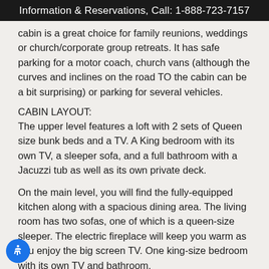Information & Reservations, Call: 1-888-723-7157
cabin is a great choice for family reunions, weddings or church/corporate group retreats. It has safe parking for a motor coach, church vans (although the curves and inclines on the road TO the cabin can be a bit surprising) or parking for several vehicles.
CABIN LAYOUT:
The upper level features a loft with 2 sets of Queen size bunk beds and a TV. A King bedroom with its own TV, a sleeper sofa, and a full bathroom with a Jacuzzi tub as well as its own private deck.
On the main level, you will find the fully-equipped kitchen along with a spacious dining area. The living room has two sofas, one of which is a queen-size sleeper. The electric fireplace will keep you warm as you enjoy the big screen TV. One king-size bedroom with its own TV and bathroom.